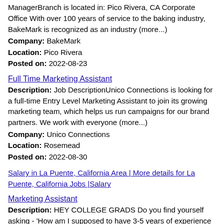ManagerBranch is located in: Pico Rivera, CA Corporate Office With over 100 years of service to the baking industry, BakeMark is recognized as an industry (more...) Company: BakeMark Location: Pico Rivera Posted on: 2022-08-23
Full Time Marketing Assistant
Description: Job DescriptionUnico Connections is looking for a full-time Entry Level Marketing Assistant to join its growing marketing team, which helps us run campaigns for our brand partners. We work with everyone (more...) Company: Unico Connections Location: Rosemead Posted on: 2022-08-30
Salary in La Puente, California Area | More details for La Puente, California Jobs |Salary
Marketing Assistant
Description: HEY COLLEGE GRADS Do you find yourself asking - 'How am I supposed to have 3-5 years of experience if nobody will give me a chance ' If so, look no further. KPI Group will personally train and develop (more...) Company: Next Level Recruiting Inc. Location: Covina Posted on: 2022-08-23